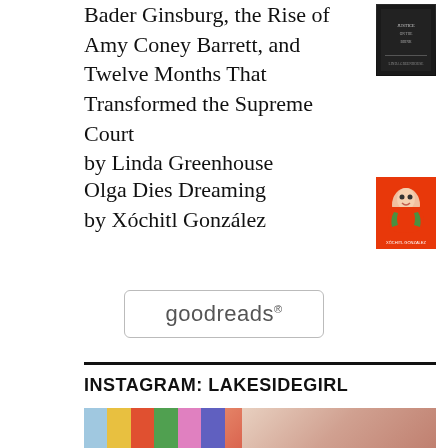Bader Ginsburg, the Rise of Amy Coney Barrett, and Twelve Months That Transformed the Supreme Court by Linda Greenhouse
Olga Dies Dreaming by Xóchitl González
[Figure (logo): Goodreads logo inside a rounded rectangle border]
INSTAGRAM: LAKESIDEGIRL
[Figure (photo): Partial photo showing colorful fabrics or items, bottom portion cut off]